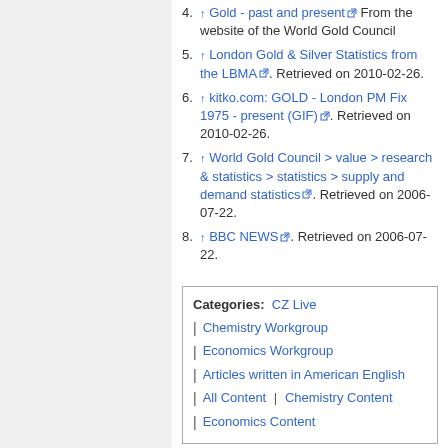4. ↑ Gold - past and present [ext]. From the website of the World Gold Council
5. ↑ London Gold & Silver Statistics from the LBMA [ext]. Retrieved on 2010-02-26.
6. ↑ kitko.com: GOLD - London PM Fix 1975 - present (GIF) [ext]. Retrieved on 2010-02-26.
7. ↑ World Gold Council > value > research & statistics > statistics > supply and demand statistics [ext]. Retrieved on 2006-07-22.
8. ↑ BBC NEWS [ext]. Retrieved on 2006-07-22.
Categories: CZ Live | Chemistry Workgroup | Economics Workgroup | Articles written in American English | All Content | Chemistry Content | Economics Content